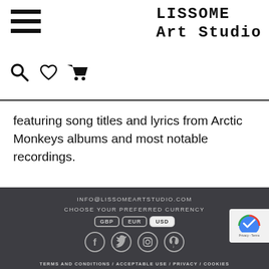[Figure (logo): Lissome Art Studio logo with hamburger menu icon and shopping/wishlist icons]
featuring song titles and lyrics from Arctic Monkeys albums and most notable recordings.
INFO@LISSOMEARTSTUDIO.COM
CHOOSE YOUR PREFERRED CURRENCY
GBP EUR USD
Facebook Twitter Instagram Pinterest social icons
TERMS AND CONDITIONS / ACCEPTABLE USE / PRIVACY / COOKIES